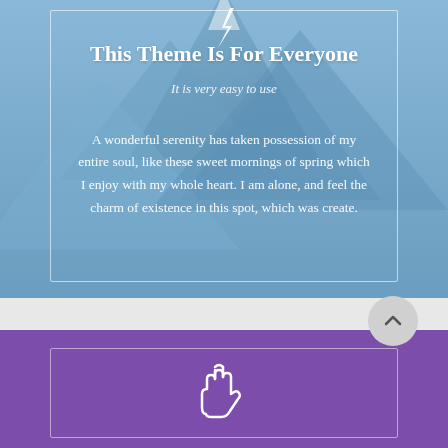[Figure (screenshot): Blue mountain landscape background with a white-bordered card overlay]
This Theme Is For Everyone
It is very easy to use
A wonderful serenity has taken possession of my entire soul, like these sweet mornings of spring which I enjoy with my whole heart. I am alone, and feel the charm of existence in this spot, which was create.
[Figure (illustration): Purple background section with white-bordered card and peace hand sign icon at bottom]